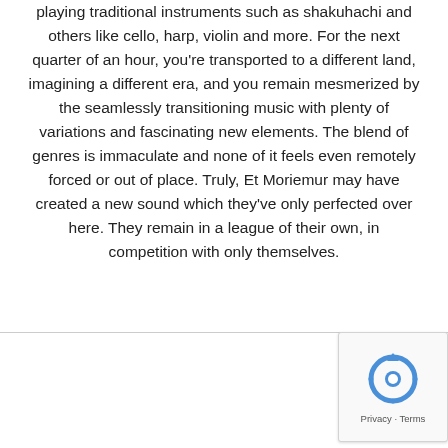playing traditional instruments such as shakuhachi and others like cello, harp, violin and more. For the next quarter of an hour, you're transported to a different land, imagining a different era, and you remain mesmerized by the seamlessly transitioning music with plenty of variations and fascinating new elements. The blend of genres is immaculate and none of it feels even remotely forced or out of place. Truly, Et Moriemur may have created a new sound which they've only perfected over here. They remain in a league of their own, in competition with only themselves.
[Figure (other): reCAPTCHA badge with spinning arrows icon and Privacy - Terms text]